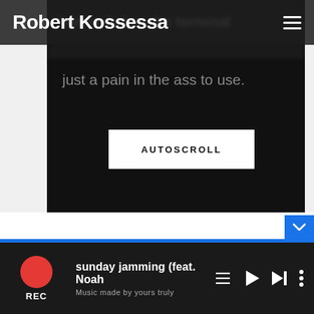Robert Kossessa
just a pain in the ass to use.
[Figure (screenshot): AUTOSCROLL button in a dark mobile app interface]
sunday jamming (feat. Noah
Music made by yours truly